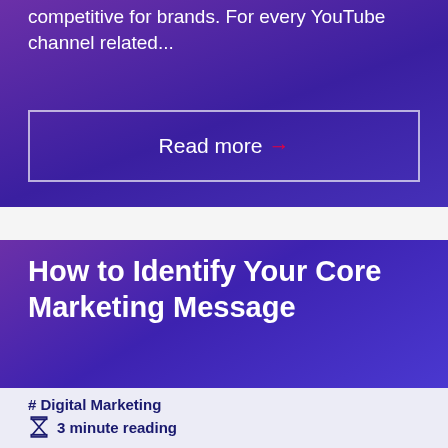competitive for brands. For every YouTube channel related...
Read more →
How to Identify Your Core Marketing Message
# Digital Marketing
3 minute reading
[Figure (photo): People in business attire looking at a tablet device, partial view showing hands and torsos]